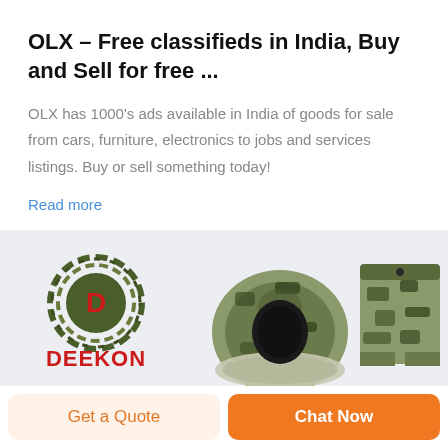OLX – Free classifieds in India, Buy and Sell for free ...
OLX has 1000's ads available in India of goods for sale from cars, furniture, electronics to jobs and services listings. Buy or sell something today!
Read more
[Figure (logo): Deekon brand logo: circular camouflage-pattern emblem with red letter D in center, and DEEKON text in red below]
[Figure (photo): Camouflage military clothing items including a hooded head cover and camouflage shorts/pants]
Get a Quote
Chat Now